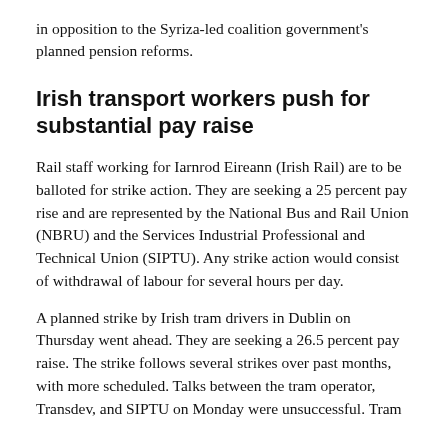in opposition to the Syriza-led coalition government's planned pension reforms.
Irish transport workers push for substantial pay raise
Rail staff working for Iarnrod Eireann (Irish Rail) are to be balloted for strike action. They are seeking a 25 percent pay rise and are represented by the National Bus and Rail Union (NBRU) and the Services Industrial Professional and Technical Union (SIPTU). Any strike action would consist of withdrawal of labour for several hours per day.
A planned strike by Irish tram drivers in Dublin on Thursday went ahead. They are seeking a 26.5 percent pay raise. The strike follows several strikes over past months, with more scheduled. Talks between the tram operator, Transdev, and SIPTU on Monday were unsuccessful. Tram